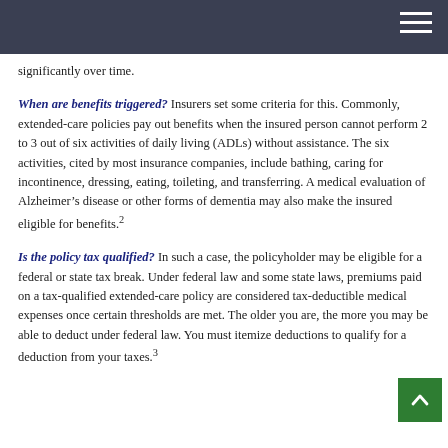significantly over time.
When are benefits triggered? Insurers set some criteria for this. Commonly, extended-care policies pay out benefits when the insured person cannot perform 2 to 3 out of six activities of daily living (ADLs) without assistance. The six activities, cited by most insurance companies, include bathing, caring for incontinence, dressing, eating, toileting, and transferring. A medical evaluation of Alzheimer's disease or other forms of dementia may also make the insured eligible for benefits.²
Is the policy tax qualified? In such a case, the policyholder may be eligible for a federal or state tax break. Under federal law and some state laws, premiums paid on a tax-qualified extended-care policy are considered tax-deductible medical expenses once certain thresholds are met. The older you are, the more you may be able to deduct under federal law. You must itemize deductions to qualify for a deduction from your taxes.³